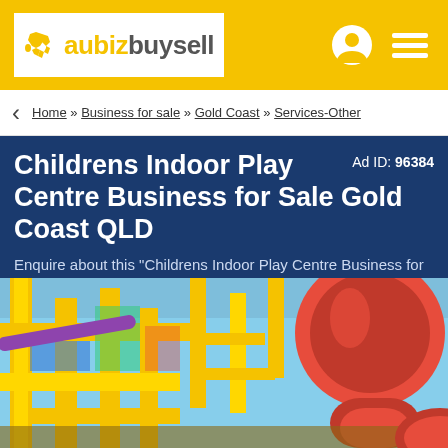aubizbuysell
Home » Business for sale » Gold Coast » Services-Other
Childrens Indoor Play Centre Business for Sale Gold Coast QLD Ad ID: 96384
Enquire about this "Childrens Indoor Play Centre Business for Sale Gold Coast QLD" opportunity on aubizbuysell
[Figure (photo): Interior of a colourful children's indoor play centre with yellow tube frames, coloured netting, and a large red slide/tube structure]